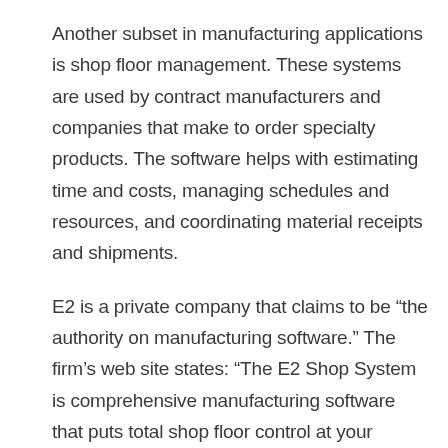Another subset in manufacturing applications is shop floor management. These systems are used by contract manufacturers and companies that make to order specialty products. The software helps with estimating time and costs, managing schedules and resources, and coordinating material receipts and shipments.
E2 is a private company that claims to be “the authority on manufacturing software.” The firm’s web site states: “The E2 Shop System is comprehensive manufacturing software that puts total shop floor control at your fingertips. Designed just for job shops and make-to-order or contract manufacturers, E2 equips you to see your business like never before, and get the big picture